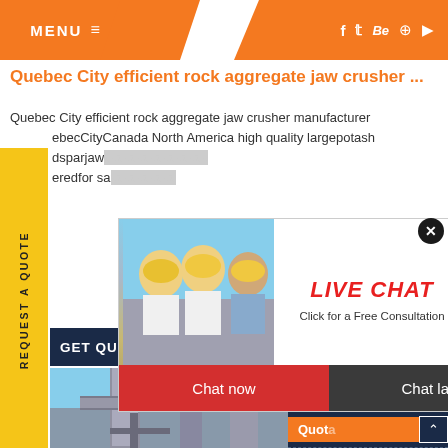MENU ≡  f  t  Be  ⊕  ▶
Quebec City efficient rock aggregate jaw crusher ...
Quebec City efficient rock aggregate jaw crusher manufacturer QuebecCityCanada North America high quality largepotash dsparjawc... eredfor sa...
[Figure (screenshot): Live chat popup overlay with workers in hard hats on left, LIVE CHAT Click for a Free Consultation text in center, customer service agent on right, Chat now and Chat later buttons at bottom]
[Figure (photo): Industrial machinery with pipes and equipment against blue sky]
REQUEST A QUOTE
GET QUOTE
Have any requests, click here.
Quota
Enquiry
drobilkalm